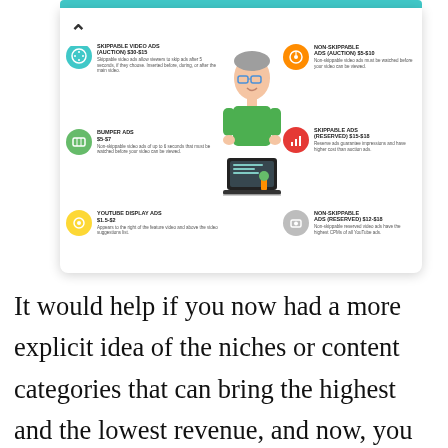[Figure (infographic): YouTube ads infographic showing 6 types of ads with icons, names, and CPM price ranges: Skippable Video Ads (Auction) $30-$15, Bumper Ads $5-$7, YouTube Display Ads $1.5-$2 on the left; Non-Skippable Ads (Auction) $5-$10, Skippable Ads (Reserved) $15-$18, Non-Skippable Ads (Reserved) $12-$18 on the right; with a cartoon person at a laptop in the center.]
It would help if you now had a more explicit idea of the niches or content categories that can bring the highest and the lowest revenue, and now, you can take a look at the kinds of YouTube ads and the ones that can bring the highest revenue in terms of CPM. So, YouTube classifies the ad types into these categories